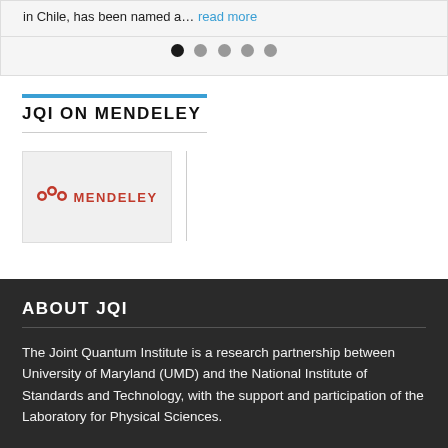in Chile, has been named a... read more
[Figure (other): Pagination dots: one black active dot followed by four grey inactive dots]
JQI ON MENDELEY
[Figure (logo): Mendeley logo: red molecule icon followed by MENDELEY text in red on a light grey background]
ABOUT JQI
The Joint Quantum Institute is a research partnership between University of Maryland (UMD) and the National Institute of Standards and Technology, with the support and participation of the Laboratory for Physical Sciences.